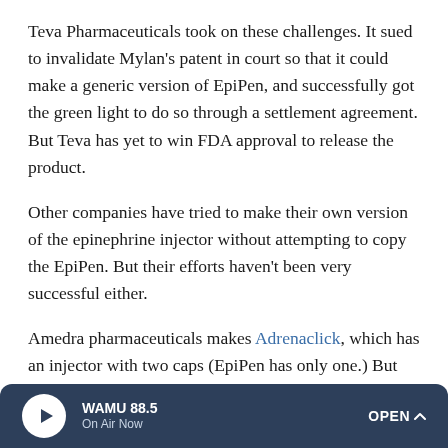Teva Pharmaceuticals took on these challenges. It sued to invalidate Mylan's patent in court so that it could make a generic version of EpiPen, and successfully got the green light to do so through a settlement agreement. But Teva has yet to win FDA approval to release the product.
Other companies have tried to make their own version of the epinephrine injector without attempting to copy the EpiPen. But their efforts haven't been very successful either.
Amedra pharmaceuticals makes Adrenaclick, which has an injector with two caps (EpiPen has only one.) But Amedra has limited manufacturing capabilities for the device and a barely visible market share, according to Price.
WAMU 88.5 · On Air Now · OPEN